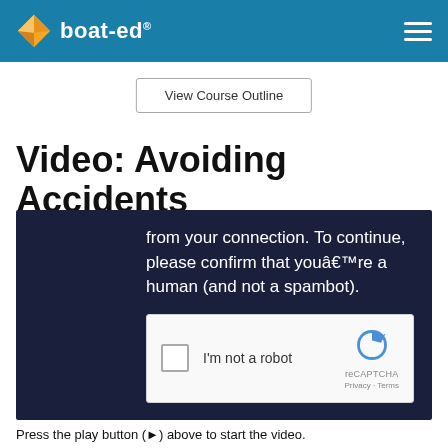boat-ed®
View Course Outline
Video: Avoiding Accidents
[Figure (screenshot): Dark navy video player overlay showing a bot-check message: 'from your connection. To continue, please confirm that youâ€™re a human (and not a spambot).' with a reCAPTCHA checkbox widget below.]
Press the play button (▶) above to start the video.